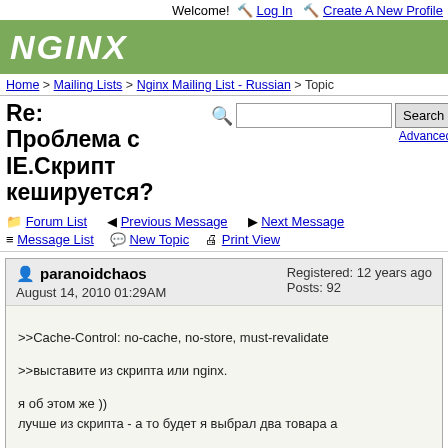Welcome! Log In  Create A New Profile
[Figure (logo): NGINX logo in white italic bold text on green background]
Home > Mailing Lists > Nginx Mailing List - Russian > Topic
Re: Проблема с IE.Скрипт кешируется?
Forum List  Previous Message  Next Message  Message List  New Topic  Print View
paranoidchaos
August 14, 2010 01:29AM
Registered: 12 years ago
Posts: 92
>>Cache-Control: no-cache, no-store, must-revalidate

>>выставите из скрипта или nginx.

я об этом же ))
лучше из скрипта - а то будет я выбрал два товара а